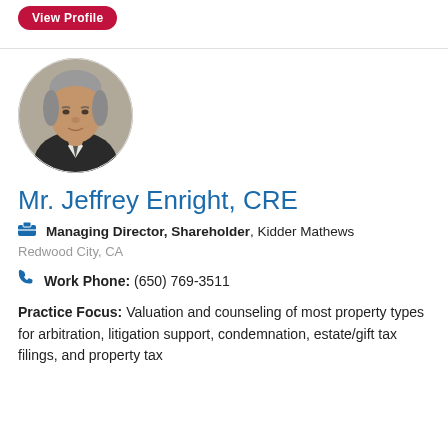View Profile
[Figure (photo): Headshot photo of Mr. Jeffrey Enright, CRE — a middle-aged man with grey hair wearing a dark suit and tie, circular crop]
Mr. Jeffrey Enright, CRE
Managing Director, Shareholder, Kidder Mathews
Redwood City, CA
Work Phone: (650) 769-3511
Practice Focus: Valuation and counseling of most property types for arbitration, litigation support, condemnation, estate/gift tax filings, and property tax